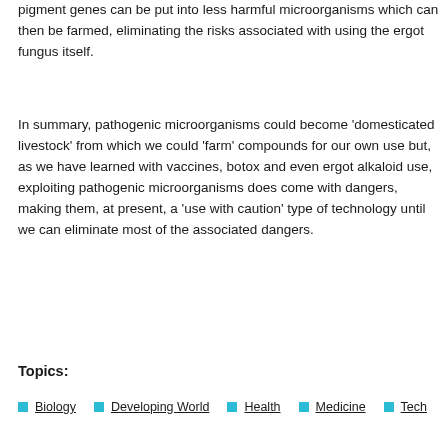pigment genes can be put into less harmful microorganisms which can then be farmed, eliminating the risks associated with using the ergot fungus itself.
In summary, pathogenic microorganisms could become 'domesticated livestock' from which we could 'farm' compounds for our own use but, as we have learned with vaccines, botox and even ergot alkaloid use, exploiting pathogenic microorganisms does come with dangers, making them, at present, a 'use with caution' type of technology until we can eliminate most of the associated dangers.
Topics:
Biology
Developing World
Health
Medicine
Tech